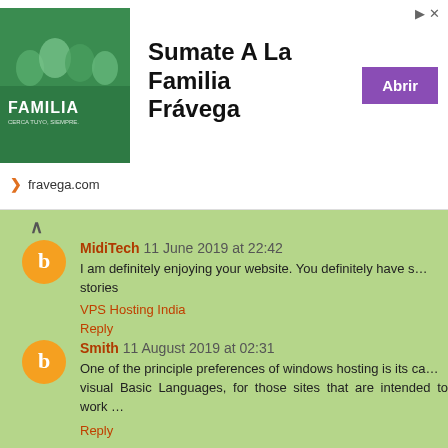[Figure (illustration): Advertisement banner for Fravega with image of people and orange/purple branding]
Sumate A La Familia Frávega
fravega.com
MidiTech 11 June 2019 at 22:42 — I am definitely enjoying your website. You definitely have some great stories. VPS Hosting India. Reply
Smith 11 August 2019 at 02:31 — One of the principle preferences of windows hosting is its capability to support visual Basic Languages, for those sites that are intended to work. Reply
Muhammad Hassan 21 October 2019 at 10:50 — Only strive to mention one's content can be as incredible. Th...